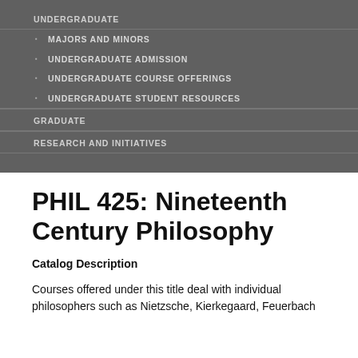UNDERGRADUATE
MAJORS AND MINORS
UNDERGRADUATE ADMISSION
UNDERGRADUATE COURSE OFFERINGS
UNDERGRADUATE STUDENT RESOURCES
GRADUATE
RESEARCH AND INITIATIVES
PHIL 425: Nineteenth Century Philosophy
Catalog Description
Courses offered under this title deal with individual philosophers such as Nietzsche, Kierkegaard, Feuerbach